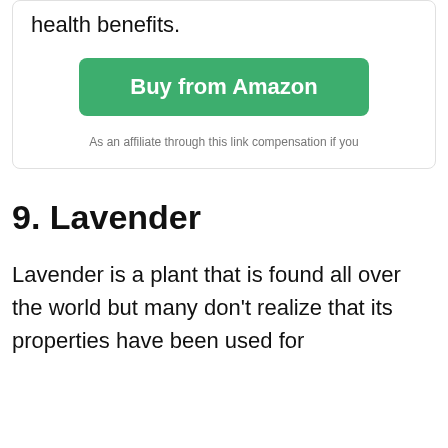health benefits.
Buy from Amazon
As an affiliate through this link compensation if you
9. Lavender
Lavender is a plant that is found all over the world but many don't realize that its properties have been used for